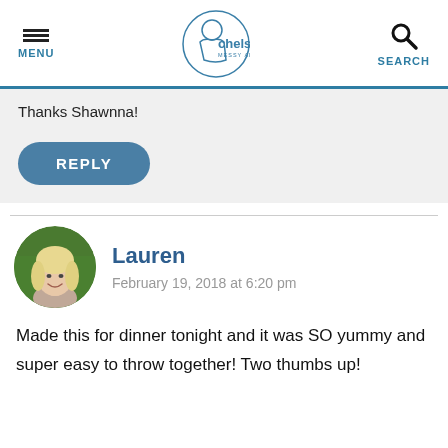MENU | chelsea's MESSY APRON® | SEARCH
Thanks Shawnna!
REPLY
Lauren
February 19, 2018 at 6:20 pm
Made this for dinner tonight and it was SO yummy and super easy to throw together! Two thumbs up!